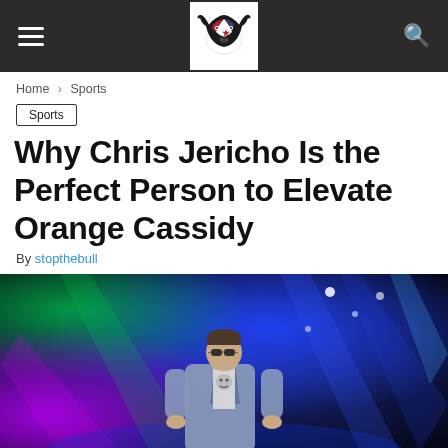Navigation bar with hamburger menu, logo, and search icon
Home › Sports
Sports
Why Chris Jericho Is the Perfect Person to Elevate Orange Cassidy
By stopthebull
[Figure (photo): A performer on stage with blue, green, and purple stage lighting, wearing sunglasses and a denim jacket over a graphic tee.]